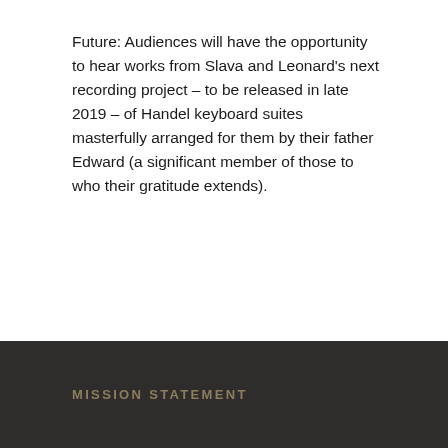Future: Audiences will have the opportunity to hear works from Slava and Leonard's next recording project – to be released in late 2019 – of Handel keyboard suites masterfully arranged for them by their father Edward (a significant member of those to who their gratitude extends).
MISSION STATEMENT